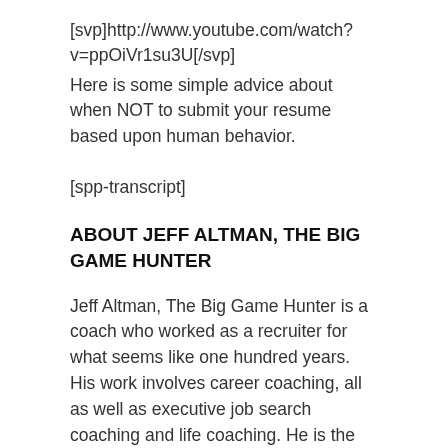[svp]http://www.youtube.com/watch?v=ppOiVr1su3U[/svp]
Here is some simple advice about when NOT to submit your resume based upon human behavior.
[spp-transcript]
ABOUT JEFF ALTMAN, THE BIG GAME HUNTER
Jeff Altman, The Big Game Hunter is a coach who worked as a recruiter for what seems like one hundred years. His work involves career coaching, all as well as executive job search coaching and life coaching. He is the host of “Job Search Radio,” “No BS Job Search